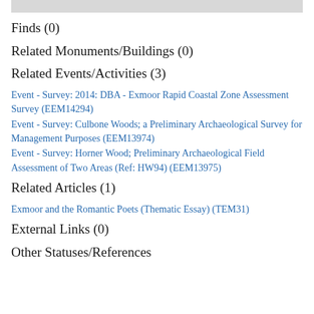Finds (0)
Related Monuments/Buildings (0)
Related Events/Activities (3)
Event - Survey: 2014: DBA - Exmoor Rapid Coastal Zone Assessment Survey (EEM14294)
Event - Survey: Culbone Woods; a Preliminary Archaeological Survey for Management Purposes (EEM13974)
Event - Survey: Horner Wood; Preliminary Archaeological Field Assessment of Two Areas (Ref: HW94) (EEM13975)
Related Articles (1)
Exmoor and the Romantic Poets (Thematic Essay) (TEM31)
External Links (0)
Other Statuses/References